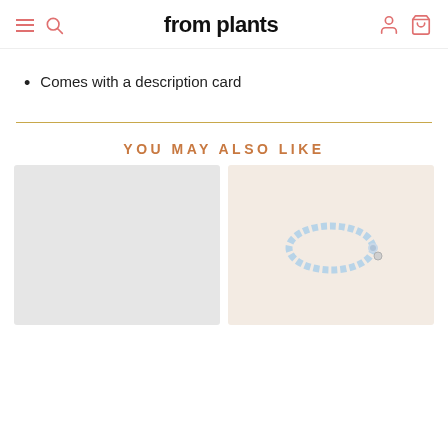from plants
Comes with a description card
YOU MAY ALSO LIKE
[Figure (photo): Two product thumbnail images side by side — left is a plain light grey placeholder, right shows a light blue beaded bracelet with a small charm on a cream background]